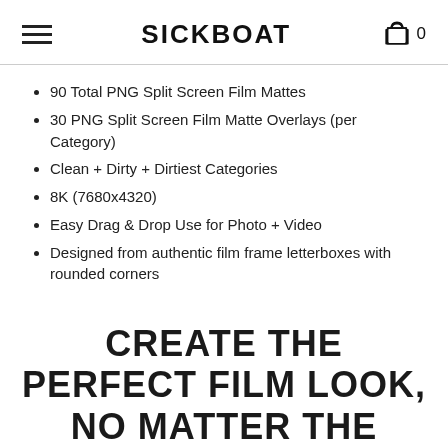SICKBOAT
90 Total PNG Split Screen Film Mattes
30 PNG Split Screen Film Matte Overlays (per Category)
Clean + Dirty + Dirtiest Categories
8K (7680x4320)
Easy Drag & Drop Use for Photo + Video
Designed from authentic film frame letterboxes with rounded corners
CREATE THE PERFECT FILM LOOK, NO MATTER THE MEDIUM...EVERYTIME!